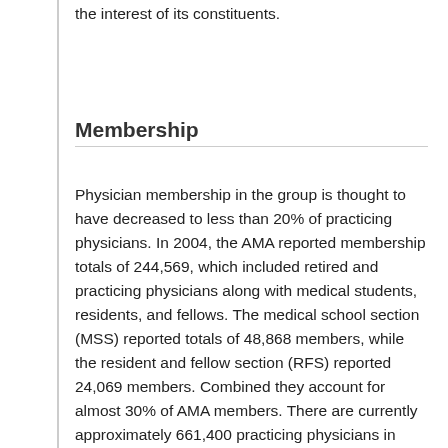the interest of its constituents.
Membership
Physician membership in the group is thought to have decreased to less than 20% of practicing physicians. In 2004, the AMA reported membership totals of 244,569, which included retired and practicing physicians along with medical students, residents, and fellows. The medical school section (MSS) reported totals of 48,868 members, while the resident and fellow section (RFS) reported 24,069 members. Combined they account for almost 30% of AMA members. There are currently approximately 661,400 practicing physicians in America. However, MedPage Today estimates that